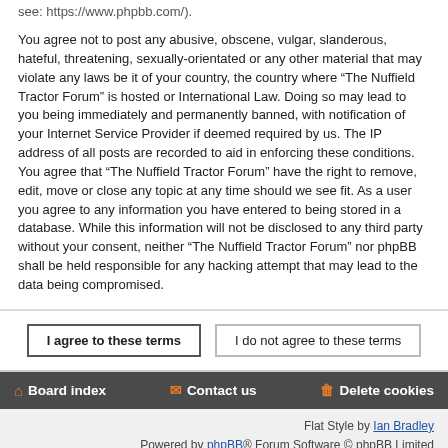see: https://www.phpbb.com/).
You agree not to post any abusive, obscene, vulgar, slanderous, hateful, threatening, sexually-orientated or any other material that may violate any laws be it of your country, the country where “The Nuffield Tractor Forum” is hosted or International Law. Doing so may lead to you being immediately and permanently banned, with notification of your Internet Service Provider if deemed required by us. The IP address of all posts are recorded to aid in enforcing these conditions. You agree that “The Nuffield Tractor Forum” have the right to remove, edit, move or close any topic at any time should we see fit. As a user you agree to any information you have entered to being stored in a database. While this information will not be disclosed to any third party without your consent, neither “The Nuffield Tractor Forum” nor phpBB shall be held responsible for any hacking attempt that may lead to the data being compromised.
I agree to these terms
I do not agree to these terms
Board index   Contact us   Delete cookies
Flat Style by Ian Bradley
Powered by phpBB® Forum Software © phpBB Limited
Privacy | Terms